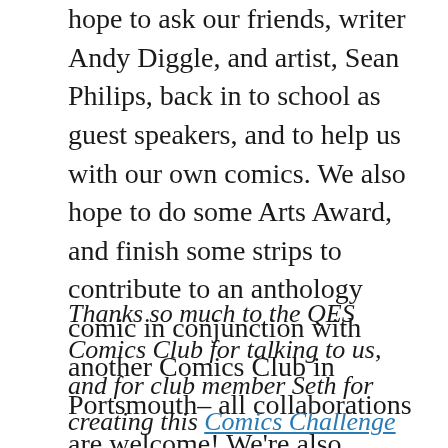hope to ask our friends, writer Andy Diggle, and artist, Sean Philips, back in to school as guest speakers, and to help us with our own comics. We also hope to do some Arts Award, and finish some strips to contribute to an anthology comic in conjunction with another Comics Club in Portsmouth– all collaborations are welcome!  We're also looking forward to the Excelsior Award 2020!
Thanks so much to the QES Comics Club for talking to us, and for club member Seth for creating this Comics Challenge for the blog! And a big thank you to librarian Gemma Sosnowsky for getting in touch with us. We'll keep you posted with further details